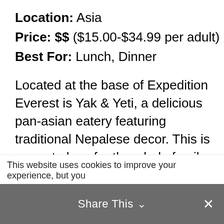Location: Asia
Price: $$ ($15.00-$34.99 per adult)
Best For: Lunch, Dinner
Located at the base of Expedition Everest is Yak & Yeti, a delicious pan-asian eatery featuring traditional Nepalese decor. This is a great place for the whole family to take a relaxing
This website uses cookies to improve your experience, but you
Share This ∨  ×